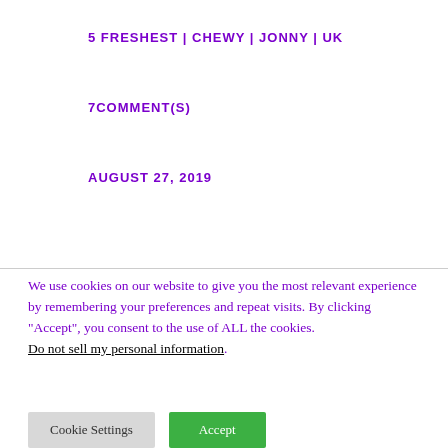5 FRESHEST | CHEWY | JONNY | UK
7COMMENT(S)
AUGUST 27, 2019
We use cookies on our website to give you the most relevant experience by remembering your preferences and repeat visits. By clicking “Accept”, you consent to the use of ALL the cookies. Do not sell my personal information.
Cookie Settings
Accept